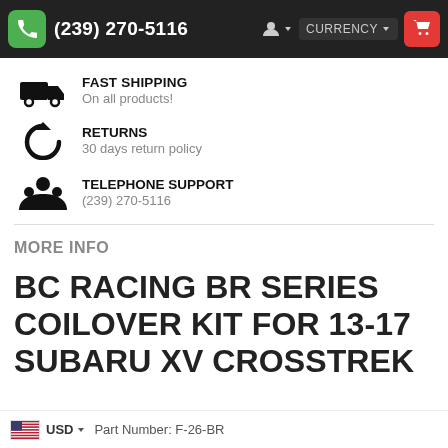(239) 270-5116  CURRENCY
FAST SHIPPING
On all products!
RETURNS
30 days return policy
TELEPHONE SUPPORT
(239) 270-5116
MORE INFO
BC RACING BR SERIES COILOVER KIT FOR 13-17 SUBARU XV CROSSTREK
Part Number: F-26-BR